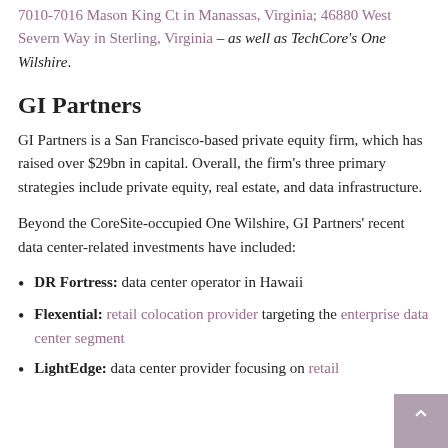7010-7016 Mason King Ct in Manassas, Virginia; 46880 West Severn Way in Sterling, Virginia – as well as TechCore's One Wilshire.
GI Partners
GI Partners is a San Francisco-based private equity firm, which has raised over $29bn in capital. Overall, the firm's three primary strategies include private equity, real estate, and data infrastructure.
Beyond the CoreSite-occupied One Wilshire, GI Partners' recent data center-related investments have included:
DR Fortress: data center operator in Hawaii
Flexential: retail colocation provider targeting the enterprise data center segment
LightEdge: data center provider focusing on retail